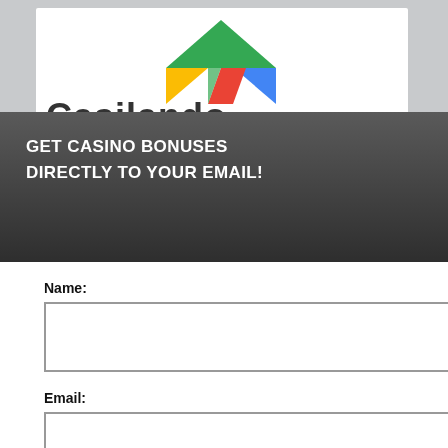[Figure (screenshot): Background page showing casino website with logo, golden/orange horizontal rule, partial heading FREE SPINS NO, a black cookie/privacy notice overlay, 100% text, yellow button, and 'No Deposit' text visible behind modal]
[Figure (screenshot): Email subscription modal popup with dark grey header, close X button, name field, email field, submit button, and fine print about privacy policy]
GET CASINO BONUSES DIRECTLY TO YOUR EMAIL!
Name:
Email:
Submit
By subscribing you are certifying that you have reviewed and accepted our updated Privacy and Cookie policy.